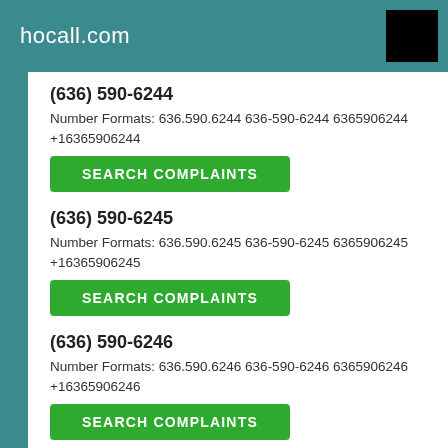hocall.com
(636) 590-6244
Number Formats: 636.590.6244 636-590-6244 6365906244 +16365906244
SEARCH COMPLAINTS
(636) 590-6245
Number Formats: 636.590.6245 636-590-6245 6365906245 +16365906245
SEARCH COMPLAINTS
(636) 590-6246
Number Formats: 636.590.6246 636-590-6246 6365906246 +16365906246
SEARCH COMPLAINTS